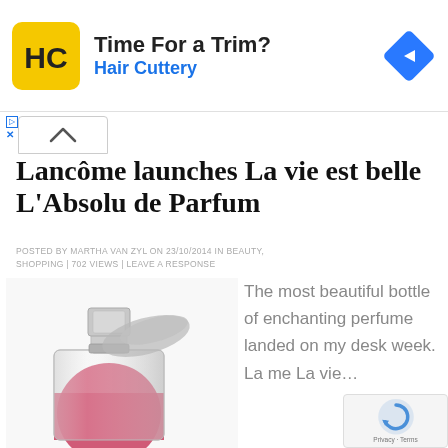[Figure (screenshot): Advertisement banner for Hair Cuttery with yellow logo showing 'HC', text 'Time For a Trim?' and 'Hair Cuttery', and a blue navigation arrow icon on the right]
Lancôme launches La vie est belle L'Absolu de Parfum
POSTED BY MARTHA VAN ZYL ON 23/10/2014 IN BEAUTY, SHOPPING | 702 VIEWS | LEAVE A RESPONSE
[Figure (photo): Lancôme La vie est belle perfume bottle with red/pink liquid, silver cap with a grey bow/ribbon, photographed on white background]
The most beautiful bottle of enchanting perfume landed on my desk week. La me La vie...